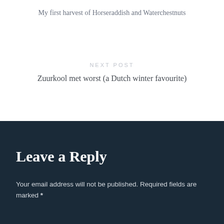My first harvest of Horseraddish and Waterchestnuts
NEXT POST
Zuurkool met worst (a Dutch winter favourite)
Leave a Reply
Your email address will not be published. Required fields are marked *